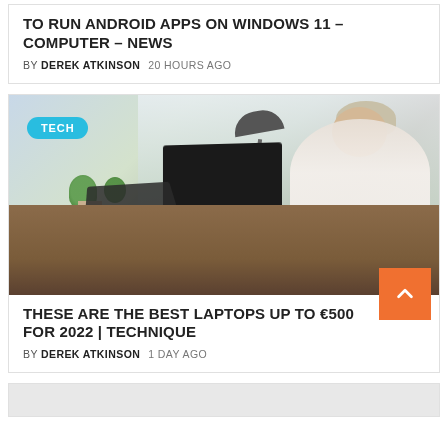TO RUN ANDROID APPS ON WINDOWS 11 – COMPUTER – NEWS
BY DEREK ATKINSON   20 HOURS AGO
[Figure (photo): Woman sitting at a wooden desk with a laptop and tablet, plants and a lamp in background, seen from behind; wearing white top, short light hair, glasses.]
THESE ARE THE BEST LAPTOPS UP TO €500 FOR 2022 | TECHNIQUE
BY DEREK ATKINSON   1 DAY AGO